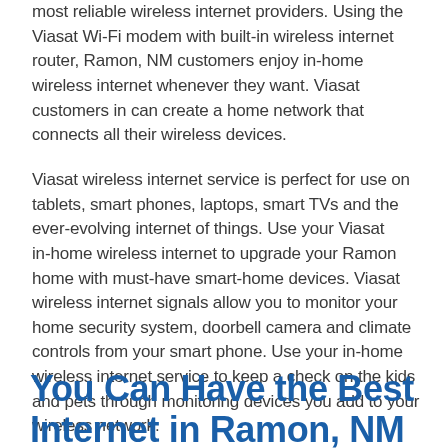most reliable wireless internet providers. Using the Viasat Wi-Fi modem with built-in wireless internet router, Ramon, NM customers enjoy in-home wireless internet whenever they want. Viasat customers in can create a home network that connects all their wireless devices.
Viasat wireless internet service is perfect for use on tablets, smart phones, laptops, smart TVs and the ever-evolving internet of things. Use your Viasat in-home wireless internet to upgrade your Ramon home with must-have smart-home devices. Viasat wireless internet signals allow you to monitor your home security system, doorbell camera and climate controls from your smart phone. Use your in-home wireless internet service to keep a check on the kids and pets through monitoring devices you add to your wireless network.
You Can Have the Best Internet in Ramon, NM